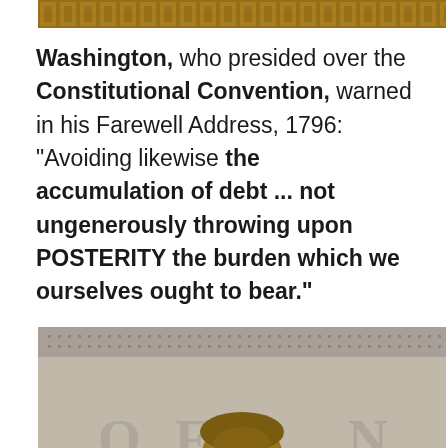[Figure (photo): Top partial image showing decorative ornamental pattern, possibly a ceiling or architectural detail with gold/brown tones]
Washington, who presided over the Constitutional Convention, warned in his Farewell Address, 1796: "Avoiding likewise the accumulation of debt ... not ungenerously throwing upon POSTERITY the burden which we ourselves ought to bear."
[Figure (photo): Bronze statue of a founding father (Jefferson) in front of a stone monument with letters 'OF' and 'N' visible, part of the Jefferson Memorial]